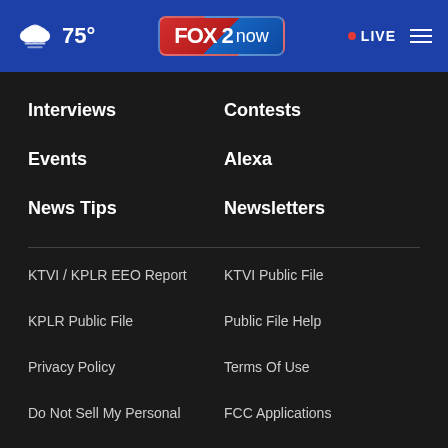75° FOX 2 now • LIVE
Interviews
Contests
Events
Alexa
News Tips
Newsletters
KTVI / KPLR EEO Report
KTVI Public File
KPLR Public File
Public File Help
Privacy Policy
Terms Of Use
Do Not Sell My Personal
FCC Applications